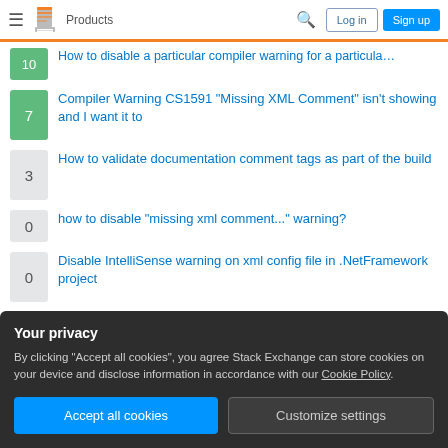Stack Overflow — Products | Log in | Sign up
How to disable a particular compiler warning for a particular file
Compiler Warning CS1591 "Missing XML Comment" isn't showing and I want it to
How to validate documentation comment tags as part of the build
how to disable "missing xml comment..." warning?
Disable IntelliSense warning on xml config file in .NetFramework project
WCF - Add service reference XML docs
Related
Your privacy
By clicking "Accept all cookies", you agree Stack Exchange can store cookies on your device and disclose information in accordance with our Cookie Policy.